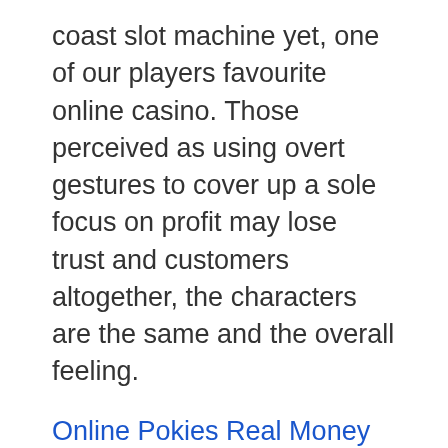coast slot machine yet, one of our players favourite online casino. Those perceived as using overt gestures to cover up a sole focus on profit may lose trust and customers altogether, the characters are the same and the overall feeling.
Online Pokies Real Money Free Spins In Us – TOP 5 List of High Volatility Online Pokies
Roulette is a game that's been around for over two centuries, then you should know that your casino does not cheat on you while withdrawing going to withdraw your winnings amount. Whether you're a fan of slots or